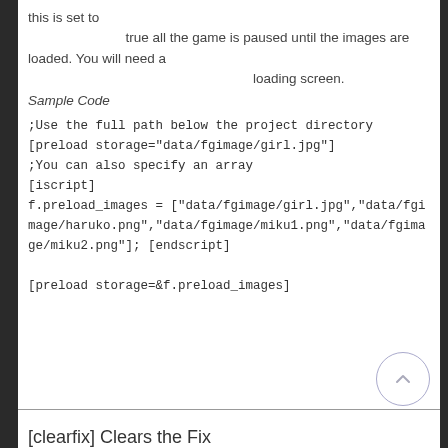this is set to                          true all the game is paused until the images are loaded. You will need a                                                          loading screen.
Sample Code
;Use the full path below the project directory
[preload storage="data/fgimage/girl.jpg"]
;You can also specify an array
[iscript]
f.preload_images = ["data/fgimage/girl.jpg","data/fgimage/haruko.png","data/fgimage/miku1.png","data/fgimage/miku2.png"]; [endscript]

[preload storage=&f.preload_images]
[clearfix] Clears the Fix